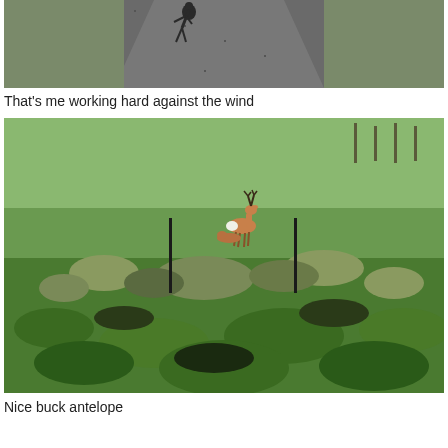[Figure (photo): Top portion of a photo showing a road/path with a person working against the wind, asphalt and gravel visible]
That's me working hard against the wind
[Figure (photo): A grassy open field/prairie with a buck antelope standing in the middle distance, green grass and sagebrush in the foreground, fence posts visible]
Nice buck antelope